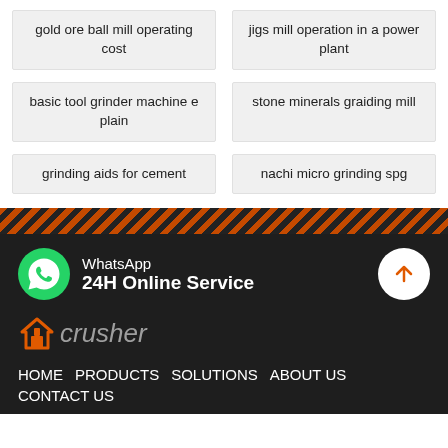gold ore ball mill operating cost
jigs mill operation in a power plant
basic tool grinder machine e plain
stone minerals graiding mill
grinding aids for cement
nachi micro grinding spg
WhatsApp
24H Online Service
[Figure (logo): Crusher website logo with house icon in orange and text 'crusher' in grey italic]
HOME   PRODUCTS   SOLUTIONS   ABOUT US   CONTACT US